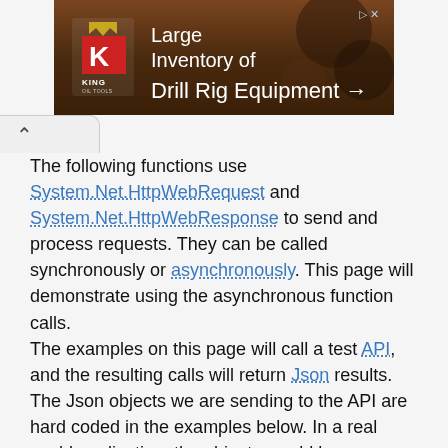[Figure (photo): Advertisement banner for King Oil Tools showing 'Large Inventory of Drill Rig Equipment' with arrow, featuring the King Oil Tools logo (red K) and a background photo of drill equipment]
The following functions use System.Net.HttpWebRequest and System.Net.HttpWebResponse to send and process requests. They can be called synchronously or asynchronously. This page will demonstrate using the asynchronous function calls.
The examples on this page will call a test API, and the resulting calls will return Json results.
The Json objects we are sending to the API are hard coded in the examples below. In a real world application, the objects would be serialized first before they are sent to the external api. I should...